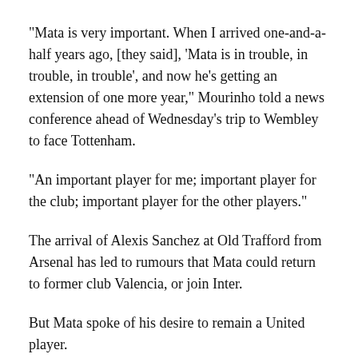“Mata is very important. When I arrived one-and-a-half years ago, [they said], ‘Mata is in trouble, in trouble, in trouble’, and now he’s getting an extension of one more year,” Mourinho told a news conference ahead of Wednesday’s trip to Wembley to face Tottenham.
“An important player for me; important player for the club; important player for the other players.”
The arrival of Alexis Sanchez at Old Trafford from Arsenal has led to rumours that Mata could return to former club Valencia, or join Inter.
But Mata spoke of his desire to remain a United player.
“I still feel very happy and very proud to be part of